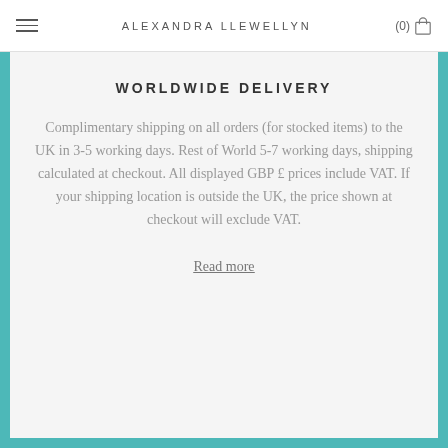ALEXANDRA LLEWELLYN
WORLDWIDE DELIVERY
Complimentary shipping on all orders (for stocked items) to the UK in 3-5 working days. Rest of World 5-7 working days, shipping calculated at checkout. All displayed GBP £ prices include VAT. If your shipping location is outside the UK, the price shown at checkout will exclude VAT.
Read more